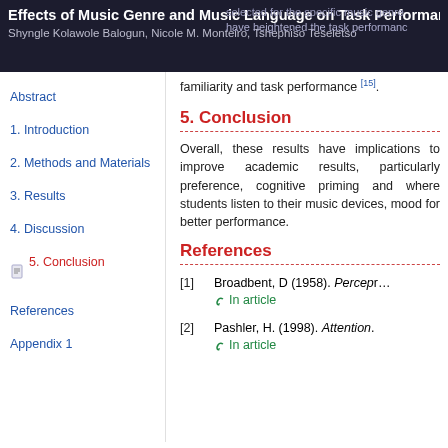Effects of Music Genre and Music Language on Task Performance
Shyngle Kolawole Balogun, Nicole M. Monteiro, Tshephiso Teseletso
familiarity and task performance [15].
Abstract
1. Introduction
2. Methods and Materials
3. Results
4. Discussion
5. Conclusion
References
Appendix 1
5. Conclusion
Overall, these results have implications to improve academic results, particularly preference, cognitive priming and where students listen to their music devices, mood for better performance.
References
[1] Broadbent, D (1958). Percep… In article
[2] Pashler, H. (1998). Attention. In article